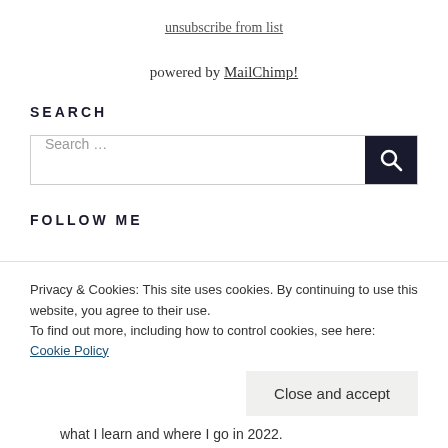unsubscribe from list
powered by MailChimp!
SEARCH
[Figure (other): Search input box with a dark search button containing a magnifying glass icon]
FOLLOW ME
Privacy & Cookies: This site uses cookies. By continuing to use this website, you agree to their use.
To find out more, including how to control cookies, see here: Cookie Policy
Close and accept
what I learn and where I go in 2022.